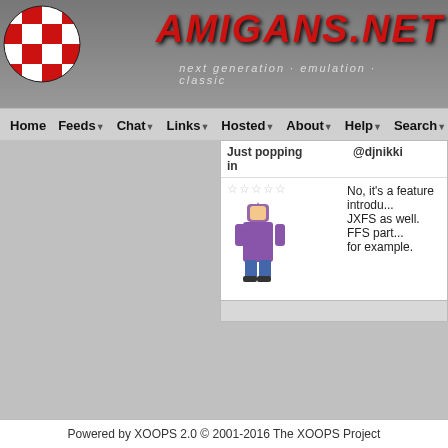[Figure (screenshot): Amigans.net website header with red checkerboard logo ball, red metallic AMIGANS.NET text, and tagline 'next generation · emulation · classic']
Home  Feeds  Chat  Links  Hosted  About  Help  Search
Just popping in
@djnikki
No, it's a feature introdu... JXFS as well. FFS part... for example.
centaurz
Re: Moving windows
Just popping in
@Antique
What do you mean by '... resizing ?
Powered by XOOPS 2.0 © 2001-2016 The XOOPS Project